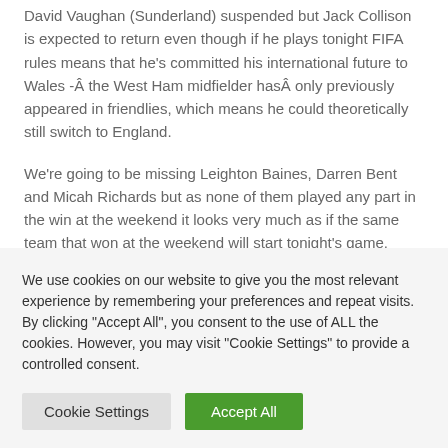David Vaughan (Sunderland) suspended but Jack Collison is expected to return even though if he plays tonight FIFA rules means that he's committed his international future to Wales -Â the West Ham midfielder hasÂ only previously appeared in friendlies, which means he could theoretically still switch to England.
We're going to be missing Leighton Baines, Darren Bent and Micah Richards but as none of them played any part in the win at the weekend it looks very much as if the same team that won at the weekend will start tonight's game.
We use cookies on our website to give you the most relevant experience by remembering your preferences and repeat visits. By clicking "Accept All", you consent to the use of ALL the cookies. However, you may visit "Cookie Settings" to provide a controlled consent.